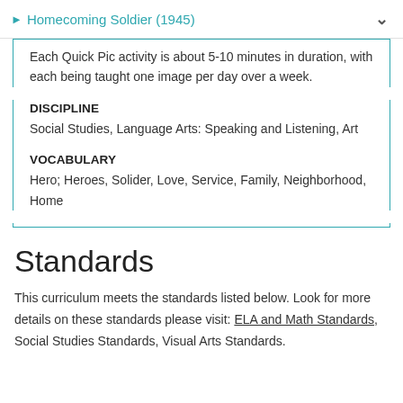Homecoming Soldier (1945)
Each Quick Pic activity is about 5-10 minutes in duration, with each being taught one image per day over a week.
DISCIPLINE
Social Studies, Language Arts: Speaking and Listening, Art
VOCABULARY
Hero; Heroes, Solider, Love, Service, Family, Neighborhood, Home
Standards
This curriculum meets the standards listed below. Look for more details on these standards please visit: ELA and Math Standards, Social Studies Standards, Visual Arts Standards.